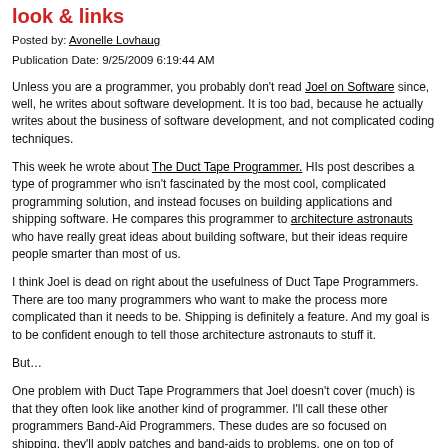look & links
Posted by: Avonelle Lovhaug
Publication Date: 9/25/2009 6:19:44 AM
Unless you are a programmer, you probably don't read Joel on Software since, well, he writes about software development. It is too bad, because he actually writes about the business of software development, and not complicated coding techniques.
This week he wrote about The Duct Tape Programmer. HIs post describes a type of programmer who isn't fascinated by the most cool, complicated programming solution, and instead focuses on building applications and shipping software. He compares this programmer to architecture astronauts who have really great ideas about building software, but their ideas require people smarter than most of us.
I think Joel is dead on right about the usefulness of Duct Tape Programmers. There are too many programmers who want to make the process more complicated than it needs to be. Shipping is definitely a feature. And my goal is to be confident enough to tell those architecture astronauts to stuff it.
But…
One problem with Duct Tape Programmers that Joel doesn't cover (much) is that they often look like another kind of programmer. I'll call these other programmers Band-Aid Programmers. These dudes are so focused on shipping, they'll apply patches and band-aids to problems, one on top of another, without really fully understanding the problem. They build applications that some...